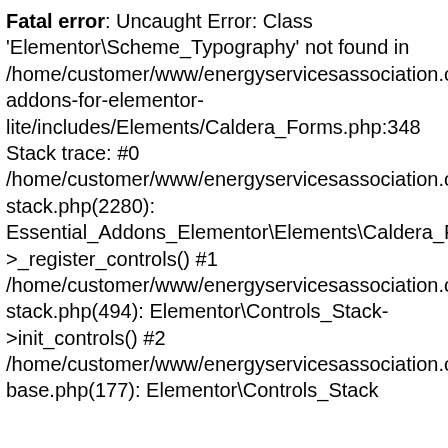Fatal error: Uncaught Error: Class 'Elementor\Scheme_Typography' not found in /home/customer/www/energyservicesassociation.ca/content/plugins/essential-addons-for-elementor-lite/includes/Elements/Caldera_Forms.php:348 Stack trace: #0 /home/customer/www/energyservicesassociation.ca/content/plugins/elementor/includes/base/controls-stack.php(2280): Essential_Addons_Elementor\Elements\Caldera_Form->_register_controls() #1 /home/customer/www/energyservicesassociation.ca/content/plugins/elementor/includes/base/controls-stack.php(494): Elementor\Controls_Stack->init_controls() #2 /home/customer/www/energyservicesassociation.ca/content/plugins/elementor/includes/base/widget-base.php(177): Elementor\Controls_Stack